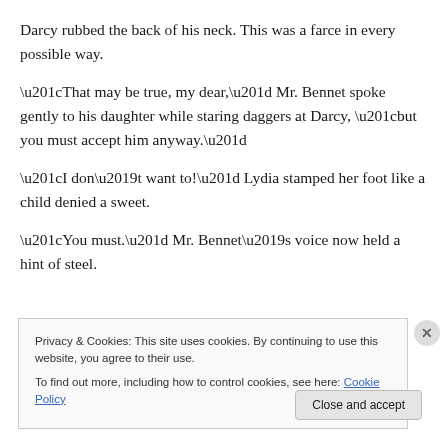Darcy rubbed the back of his neck.  This was a farce in every possible way.
“That may be true, my dear,” Mr. Bennet spoke gently to his daughter while staring daggers at Darcy, “but you must accept him anyway.”
“I don’t want to!”  Lydia stamped her foot like a child denied a sweet.
“You must.”  Mr. Bennet’s voice now held a hint of steel.
Privacy & Cookies: This site uses cookies. By continuing to use this website, you agree to their use.
To find out more, including how to control cookies, see here: Cookie Policy